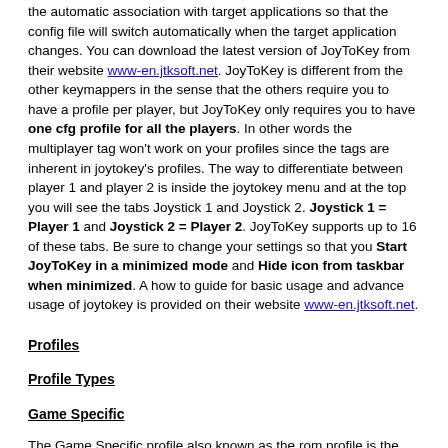the automatic association with target applications so that the config file will switch automatically when the target application changes. You can download the latest version of JoyToKey from their website www-en.jtksoft.net. JoyToKey is different from the other keymappers in the sense that the others require you to have a profile per player, but JoyToKey only requires you to have one cfg profile for all the players. In other words the multiplayer tag won't work on your profiles since the tags are inherent in joytokey's profiles. The way to differentiate between player 1 and player 2 is inside the joytokey menu and at the top you will see the tabs Joystick 1 and Joystick 2. Joystick 1 = Player 1 and Joystick 2 = Player 2. JoyToKey supports up to 16 of these tabs. Be sure to change your settings so that you Start JoyToKey in a minimized mode and Hide icon from taskbar when minimized. A how to guide for basic usage and advance usage of joytokey is provided on their website www-en.jtksoft.net.
Profiles
Profile Types
Game Specific
The Game Specific profile also known as the rom profile is the first profile RocketLauncher looks for when loading your keymapper profiles. A game specific profile is useful if you need different controls per game. Below are examples of how to make a game specific profile for the different keymappers for the game "Super Mario Bros. + Duck Hunt (USA)" for the